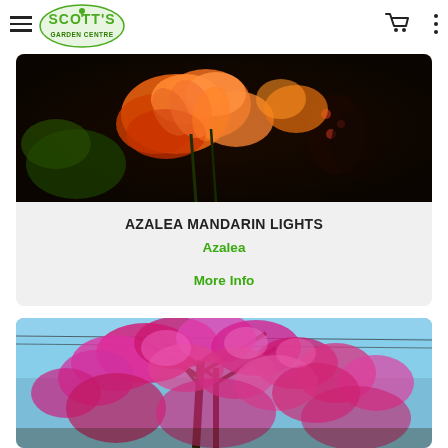Scott's Garden Centre — navigation bar with hamburger menu, logo, cart icon, and more options
[Figure (photo): Orange and red azalea flowers (Mandarin Lights variety) in vibrant bloom against a dark background]
AZALEA MANDARIN LIGHTS
Azalea
More Info
[Figure (photo): Pink flowering tree (possibly a Prunus or similar species) with abundant hot-pink blossoms against a blue sky with utility wires visible]